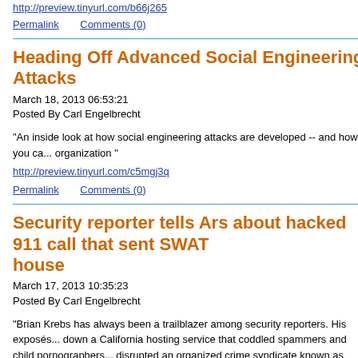http://preview.tinyurl.com/b66j265
Permalink    Comments (0)
Heading Off Advanced Social Engineering Attacks
March 18, 2013 06:53:21
Posted By Carl Engelbrecht
"An inside look at how social engineering attacks are developed -- and how you ca... organization "
http://preview.tinyurl.com/c5mgj3q
Permalink    Comments (0)
Security reporter tells Ars about hacked 911 call that sent SWAT... house
March 17, 2013 10:35:23
Posted By Carl Engelbrecht
"Brian Krebs has always been a trailblazer among security reporters. His exposés... down a California hosting service that coddled spammers and child pornographers... disrupted an organized crime syndicate known as Russian Business Network. Mo...